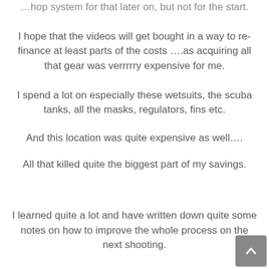…hop system for that later on, but not for the start.
I hope that the videos will get bought in a way to re-finance at least parts of the costs ….as acquiring all that gear was verrrrry expensive for me.
I spend a lot on especially these wetsuits, the scuba tanks, all the masks, regulators, fins etc.
And this location was quite expensive as well….
All that killed quite the biggest part of my savings.
I learned quite a lot and have written down quite some notes on how to improve the whole process on the next shooting.